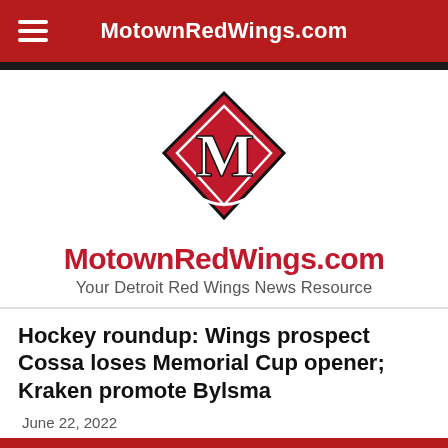MotownRedWings.com
[Figure (logo): MotownRedWings.com diamond logo with stylized M]
MotownRedWings.com
Your Detroit Red Wings News Resource
Hockey roundup: Wings prospect Cossa loses Memorial Cup opener; Kraken promote Bylsma
June 22, 2022